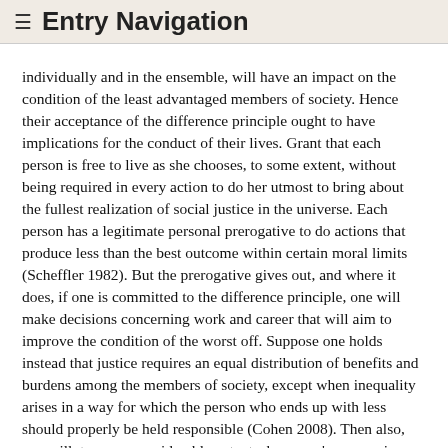≡ Entry Navigation
individually and in the ensemble, will have an impact on the condition of the least advantaged members of society. Hence their acceptance of the difference principle ought to have implications for the conduct of their lives. Grant that each person is free to live as she chooses, to some extent, without being required in every action to do her utmost to bring about the fullest realization of social justice in the universe. Each person has a legitimate personal prerogative to do actions that produce less than the best outcome within certain moral limits (Scheffler 1982). But the prerogative gives out, and where it does, if one is committed to the difference principle, one will make decisions concerning work and career that will aim to improve the condition of the worst off. Suppose one holds instead that justice requires an equal distribution of benefits and burdens among the members of society, except when inequality arises in a way for which the person who ends up with less should properly be held responsible (Cohen 2008). Then also, one will, to some considerable extent, shape one's economic behavior with